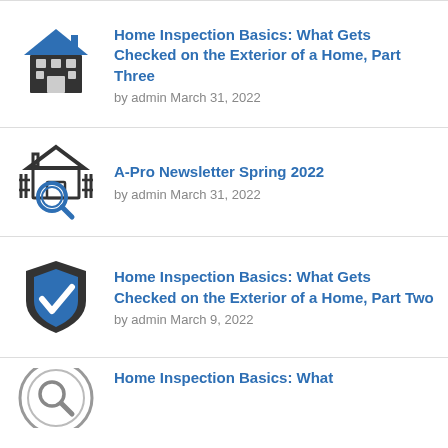Home Inspection Basics: What Gets Checked on the Exterior of a Home, Part Three
by admin March 31, 2022
A-Pro Newsletter Spring 2022
by admin March 31, 2022
Home Inspection Basics: What Gets Checked on the Exterior of a Home, Part Two
by admin March 9, 2022
Home Inspection Basics: What